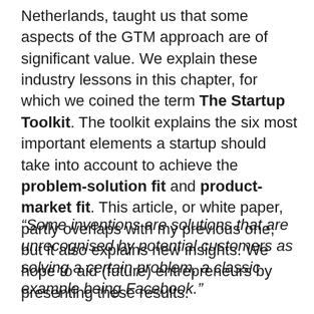Netherlands, taught us that some aspects of the GTM approach are of significant value. We explain these industry lessons in this chapter, for which we coined the term The Startup Toolkit. The toolkit explains the six most important elements a startup should take into account to achieve the problem-solution fit and product-market fit. This article, or white paper, partly overlaps with my previous one, but it also explains new insights. We hope to aid (future) entrepreneurs by presenting these results.
“Some inventions are solutions that are unrecognised by potential customers as solving a certain problem, a classic example being Facebook.”